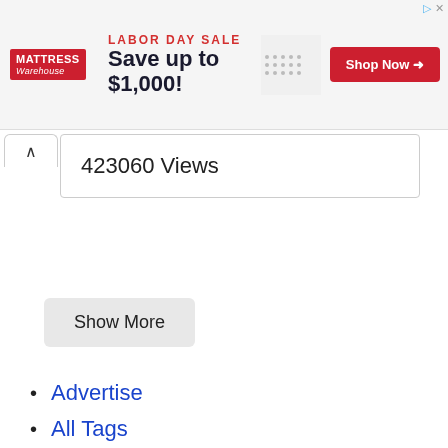[Figure (screenshot): Mattress Warehouse Labor Day Sale advertisement banner: red logo on left, 'LABOR DAY SALE Save up to $1,000!' text in center, red 'Shop Now' button on right, dotted pattern and furniture image partially visible]
423060 Views
Show More
Advertise
All Tags
Sitemap
Contact
My Videos